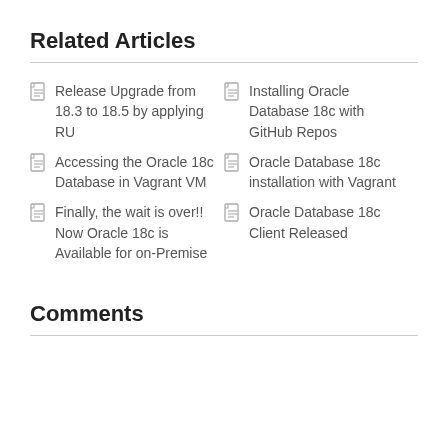Related Articles
Release Upgrade from 18.3 to 18.5 by applying RU
Installing Oracle Database 18c with GitHub Repos
Accessing the Oracle 18c Database in Vagrant VM
Oracle Database 18c installation with Vagrant
Finally, the wait is over!! Now Oracle 18c is Available for on-Premise
Oracle Database 18c Client Released
Comments